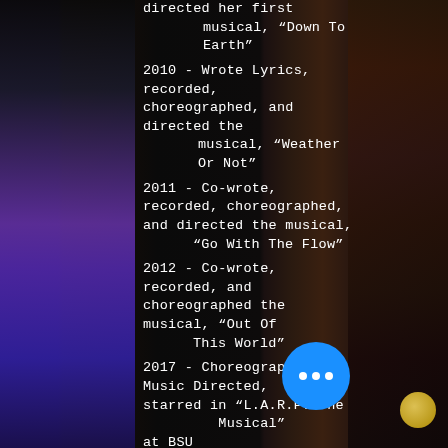directed her first musical, “Down To Earth”
2010 - Wrote Lyrics, recorded, choreographed, and directed the musical, “Weather Or Not”
2011 - Co-wrote, recorded, choreographed, and directed the musical, “Go With The Flow”
2012 - Co-wrote, recorded, and choreographed the musical, “Out Of This World”
2017 - Choreographed, Music Directed, and starred in “L.A.R.P. The Musical” at BSU
2018 - Awarded “Best Supporting Actress” for Stage Coach Theatre’s 2017-2018 Season as Sister Mary Robert in “Sister Act, The Musical”
2018 - Awarded “Best Choreography” for Stage Coach Theatre’s 2017-2018 Season for work on “Sister Act, The Musical”
2019 - Co-wrote, produced, and featured in the...